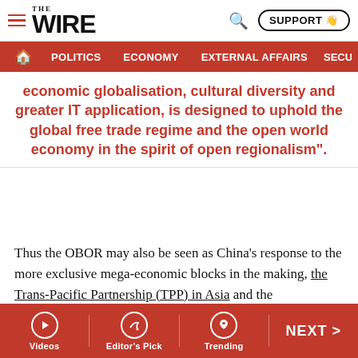THE WIRE — navigation header with Politics, Economy, External Affairs, Secu...
economic globalisation, cultural diversity and greater IT application, is designed to uphold the global free trade regime and the open world economy in the spirit of open regionalism".
Thus the OBOR may also be seen as China's response to the more exclusive mega-economic blocks in the making, the Trans-Pacific Partnership (TPP) in Asia and the Transatlantic Trade and Investment Partnership or T-TIP, both of which are led by the United States. The Road, for example, is explicitly oriented towards South East Asia, while Europe is the destination of the Belt. The OBOR,
Videos | Editor's Pick | Trending | NEXT >